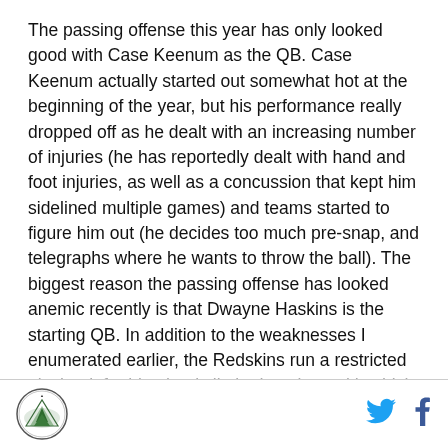The passing offense this year has only looked good with Case Keenum as the QB. Case Keenum actually started out somewhat hot at the beginning of the year, but his performance really dropped off as he dealt with an increasing number of injuries (he has reportedly dealt with hand and foot injuries, as well as a concussion that kept him sidelined multiple games) and teams started to figure him out (he decides too much pre-snap, and telegraphs where he wants to throw the ball). The biggest reason the passing offense has looked anemic recently is that Dwayne Haskins is the starting QB. In addition to the weaknesses I enumerated earlier, the Redskins run a restricted playbook for him that is limited to plays with which he is
[Figure (logo): Circular logo with tree/mountain illustration on white background with dark border]